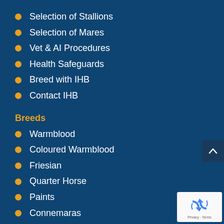Selection of Stallions
Selection of Mares
Vet & AI Procedures
Health Safeguards
Breed with IHB
Contact IHB
Breeds
Warmblood
Coloured Warmblood
Friesian
Quarter Horse
Paints
Connemaras
German Riding Pony
Welsh Cob